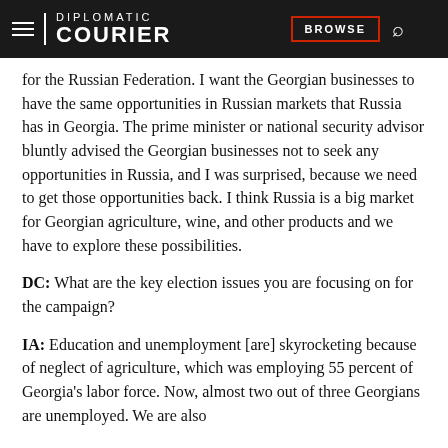DIPLOMATIC COURIER | BROWSE
for the Russian Federation. I want the Georgian businesses to have the same opportunities in Russian markets that Russia has in Georgia. The prime minister or national security advisor bluntly advised the Georgian businesses not to seek any opportunities in Russia, and I was surprised, because we need to get those opportunities back. I think Russia is a big market for Georgian agriculture, wine, and other products and we have to explore these possibilities.
DC: What are the key election issues you are focusing on for the campaign?
IA: Education and unemployment [are] skyrocketing because of neglect of agriculture, which was employing 55 percent of Georgia's labor force. Now, almost two out of three Georgians are unemployed. We are also